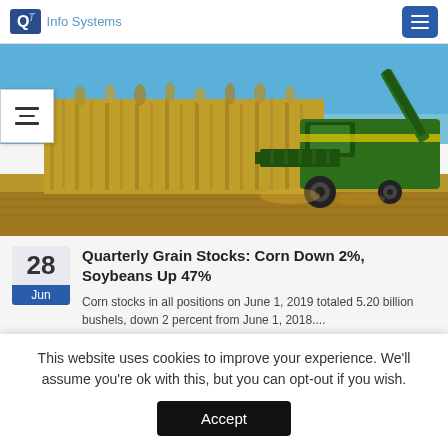QT Info Systems
[Figure (photo): A green combine harvester working through a field of dried corn stalks under a clear blue sky.]
Quarterly Grain Stocks: Corn Down 2%, Soybeans Up 47%
Corn stocks in all positions on June 1, 2019 totaled 5.20 billion bushels, down 2 percent from June 1, 2018....
This website uses cookies to improve your experience. We'll assume you're ok with this, but you can opt-out if you wish.